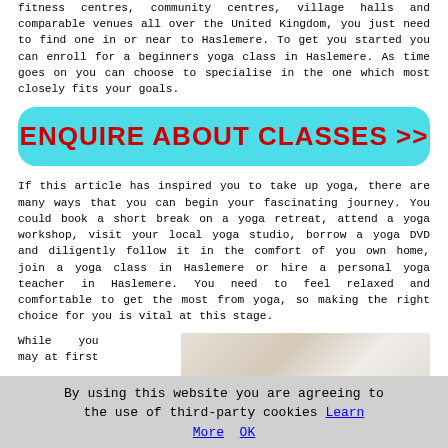fitness centres, community centres, village halls and comparable venues all over the United Kingdom, you just need to find one in or near to Haslemere. To get you started you can enroll for a beginners yoga class in Haslemere. As time goes on you can choose to specialise in the one which most closely fits your goals.
[Figure (other): Cyan/turquoise rounded button with bold red uppercase text reading ENQUIRE ABOUT CLASSES >>]
If this article has inspired you to take up yoga, there are many ways that you can begin your fascinating journey. You could book a short break on a yoga retreat, attend a yoga workshop, visit your local yoga studio, borrow a yoga DVD and diligently follow it in the comfort of you own home, join a yoga class in Haslemere or hire a personal yoga teacher in Haslemere. You need to feel relaxed and comfortable to get the most from yoga, so making the right choice for you is vital at this stage.
While you may at first
[Figure (photo): Partial photo of a person in a yoga pose, light background]
By using this website you are agreeing to the use of third-party cookies Learn More  OK